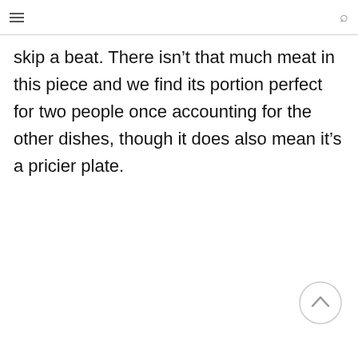skip a beat. There isn’t that much meat in this piece and we find its portion perfect for two people once accounting for the other dishes, though it does also mean it’s a pricier plate.
[Figure (other): Scroll-to-top circular button with an upward arrow icon]